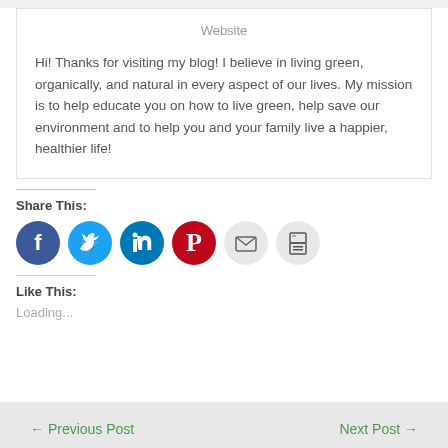Website
Hi! Thanks for visiting my blog! I believe in living green, organically, and natural in every aspect of our lives. My mission is to help educate you on how to live green, help save our environment and to help you and your family live a happier, healthier life!
Share This:
[Figure (infographic): Six social sharing icon circles: Facebook (blue), Twitter (light blue), LinkedIn (dark blue), Pinterest (red), Email (light gray), Print (light gray)]
Like This:
Loading...
← Previous Post    Next Post →